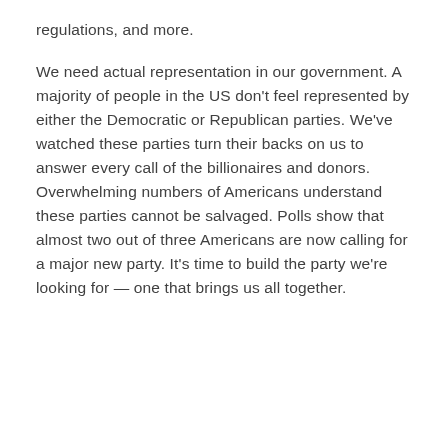regulations, and more.
We need actual representation in our government. A majority of people in the US don't feel represented by either the Democratic or Republican parties. We've watched these parties turn their backs on us to answer every call of the billionaires and donors. Overwhelming numbers of Americans understand these parties cannot be salvaged. Polls show that almost two out of three Americans are now calling for a major new party. It's time to build the party we're looking for — one that brings us all together.